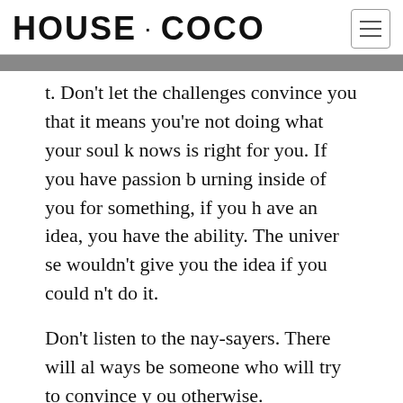HOUSE · COCO
t. Don't let the challenges convince you that it means you're not doing what your soul knows is right for you. If you have passion burning inside of you for something, if you have an idea, you have the ability. The universe wouldn't give you the idea if you couldn't do it.
Don't listen to the nay-sayers. There will always be someone who will try to convince you otherwise.